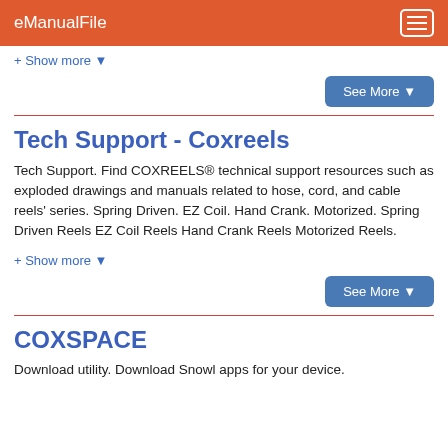eManualFile
+ Show more ▾
See More ▾
Tech Support - Coxreels
Tech Support. Find COXREELS® technical support resources such as exploded drawings and manuals related to hose, cord, and cable reels' series. Spring Driven. EZ Coil. Hand Crank. Motorized. Spring Driven Reels EZ Coil Reels Hand Crank Reels Motorized Reels.
+ Show more ▾
See More ▾
COXSPACE
Download utility. Download Snowl apps for your device.